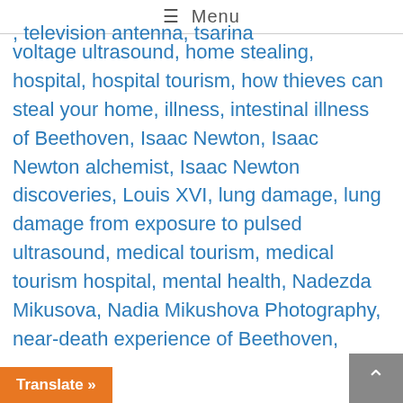≡ Menu
voltage ultrasound, home stealing, hospital, hospital tourism, how thieves can steal your home, illness, intestinal illness of Beethoven, Isaac Newton, Isaac Newton alchemist, Isaac Newton discoveries, Louis XVI, lung damage, lung damage from exposure to pulsed ultrasound, medical tourism, medical tourism hospital, mental health, Nadezda Mikusova, Nadia Mikushova Photography, near-death experience of Beethoven, negative piezoelectric effect on health, physical activity problems from ultrasound, problem, SARS-CoV-2, sickness of Beethoven, strange, television antenna, tsarina